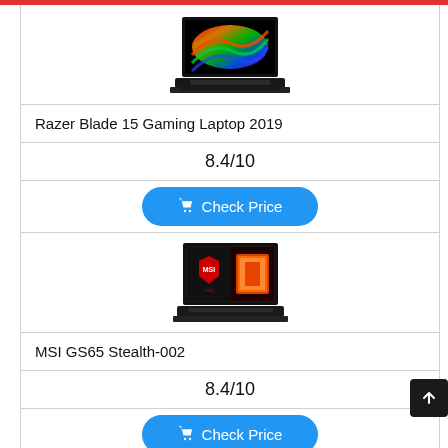[Figure (photo): Razer Blade 15 gaming laptop with colorful RGB display open]
Razer Blade 15 Gaming Laptop 2019
8.4/10
Check Price
[Figure (photo): MSI GS65 Stealth gaming laptop with MSI logo on screen]
MSI GS65 Stealth-002
8.4/10
Check Price
[Figure (photo): Partial view of another laptop at bottom of page]